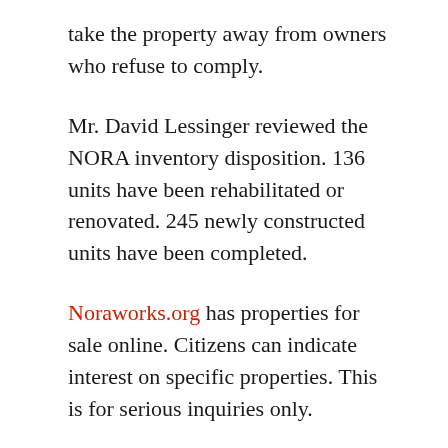take the property away from owners who refuse to comply.
Mr. David Lessinger reviewed the NORA inventory disposition. 136 units have been rehabilitated or renovated. 245 newly constructed units have been completed.
Noraworks.org has properties for sale online. Citizens can indicate interest on specific properties. This is for serious inquiries only.
Mr. Brian Lawlor of the Office of Community Development indicated that they are working